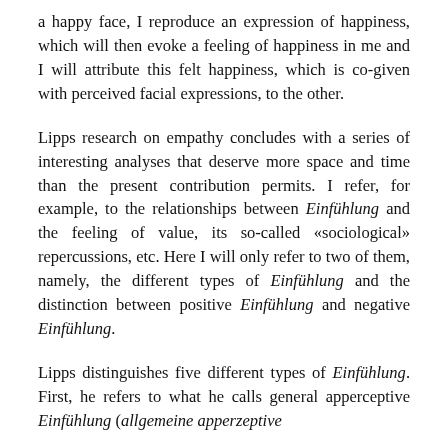a happy face, I reproduce an expression of happiness, which will then evoke a feeling of happiness in me and I will attribute this felt happiness, which is co-given with perceived facial expressions, to the other.
Lipps research on empathy concludes with a series of interesting analyses that deserve more space and time than the present contribution permits. I refer, for example, to the relationships between Einfühlung and the feeling of value, its so-called «sociological» repercussions, etc. Here I will only refer to two of them, namely, the different types of Einfühlung and the distinction between positive Einfühlung and negative Einfühlung.
Lipps distinguishes five different types of Einfühlung. First, he refers to what he calls general apperceptive Einfühlung (allgemeine apperzeptive